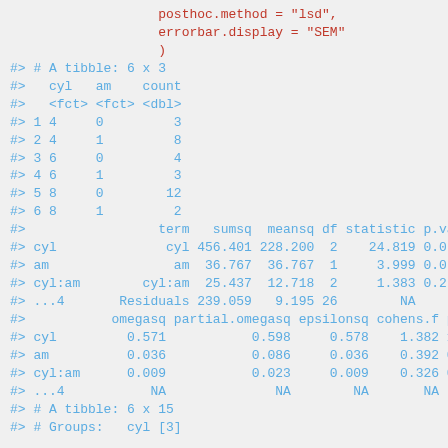posthoc.method = "lsd",
                    errorbar.display = "SEM"
                    )
#> # A tibble: 6 x 3
#>   cyl   am    count
#>   <fct> <fct> <dbl>
#> 1 4     0         3
#> 2 4     1         8
#> 3 6     0         4
#> 4 6     1         3
#> 5 8     0        12
#> 6 8     1         2
#>                 term   sumsq  meansq df statistic p.val
#> cyl              cyl 456.401 228.200  2    24.819 0.0
#> am                am  36.767  36.767  1     3.999 0.0
#> cyl:am        cyl:am  25.437  12.718  2     1.383 0.2
#> ...4       Residuals 239.059   9.195 26        NA
#>           omegasq partial.omegasq epsilonsq cohens.f p
#> cyl         0.571           0.598     0.578    1.382 1
#> am          0.036           0.086     0.036    0.392 0
#> cyl:am      0.009           0.023     0.009    0.326 0
#> ...4           NA              NA        NA       NA
#> # A tibble: 6 x 15
#> # Groups:   cyl [3]